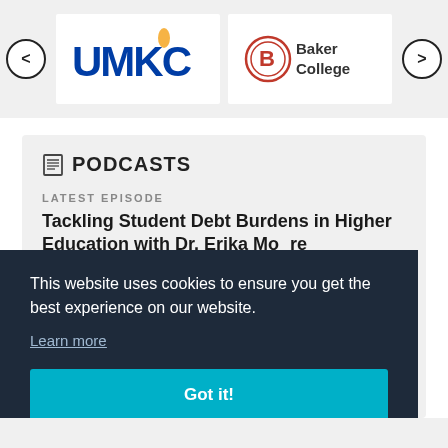[Figure (logo): UMKC university logo in blue text]
[Figure (logo): Baker College logo with red B circle and text]
PODCASTS
LATEST EPISODE
Tackling Student Debt Burdens in Higher Education with Dr. Erika Moore
This website uses cookies to ensure you get the best experience on our website.
Learn more
Got it!